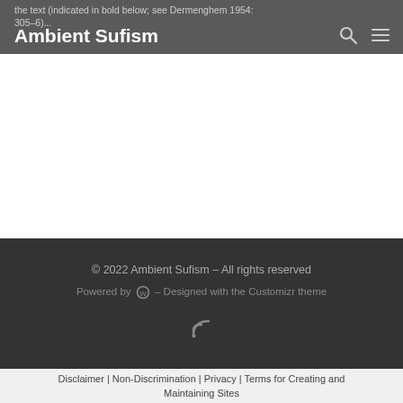the text (indicated in bold below; see Dermenghem 1954: 305-6)...
Ambient Sufism
© 2022 Ambient Sufism – All rights reserved
Powered by [WordPress] – Designed with the Customizr theme
Disclaimer | Non-Discrimination | Privacy | Terms for Creating and Maintaining Sites